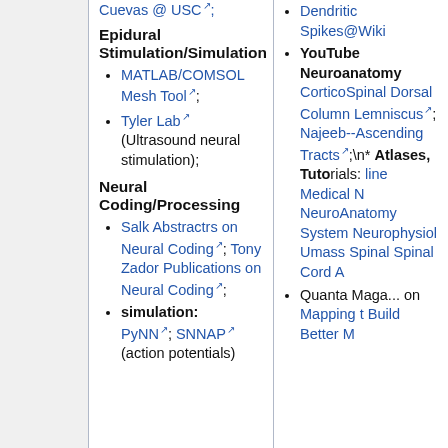Cuevas @ USC; (top of middle column)
Epidural Stimulation/Simulation
MATLAB/COMSOL Mesh Tool;
Tyler Lab (Ultrasound neural stimulation);
Neural Coding/Processing
Salk Abstractrs on Neural Coding; Tony Zador Publications on Neural Coding;
simulation: PyNN; SNNAP (action potentials)
Dendritic Spikes@Wiki
YouTube Neuroanatomy CorticoSpinal Dorsal Column Lemniscus; Najeeb--Ascending Tracts;\n* Atlases, Tutorials: Online Medical Neuroanatomy System Neurophysiology Umass Spinal Spinal Cord Atlas
Quanta Magazine on Mapping the Build Better M...